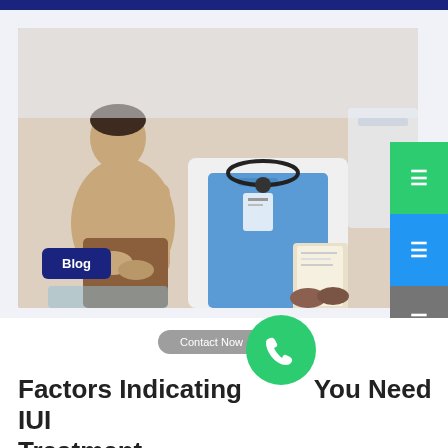[Figure (photo): A doctor in a white coat holding a clipboard/folder, consulting with a patient sitting on an examination table. The doctor is wearing blue scrubs underneath the coat with a stethoscope. The patient appears to be a woman. Medical office setting.]
Blog
Contact Now
Factors Indicating You Need IUI Treatment